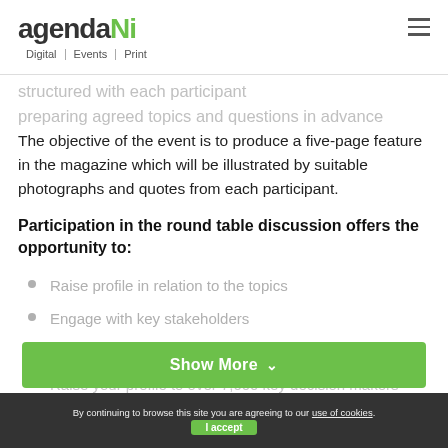agendaNi | Digital | Events | Print
structured with each participant preparing agreed topics and questions in advance
The objective of the event is to produce a five-page feature in the magazine which will be illustrated by suitable photographs and quotes from each participant.
Participation in the round table discussion offers the opportunity to:
Raise profile in relation to the topics
Engage with key stakeholders
Gain recognition as a thought leader
Raise your profile to over 7,000 key decision makers
Show More
By continuing to browse this site you are agreeing to our use of cookies. I accept